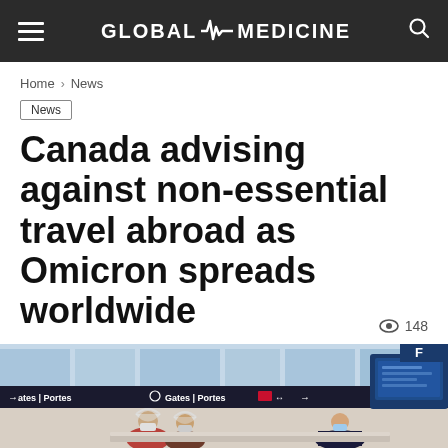GLOBAL MEDICINE
Home > News
News
Canada advising against non-essential travel abroad as Omicron spreads worldwide
👁 148
[Figure (photo): Airport terminal scene with travelers wearing face shields and masks at a check-in counter. Overhead signs read 'Gates | Portes' with directional arrows. A blue digital kiosk screen is visible on the right.]